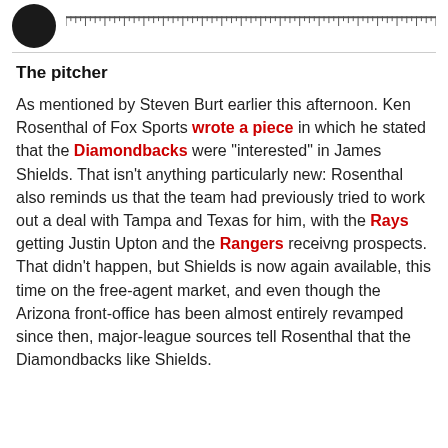[Figure (other): Circular avatar/profile image (dark/black circle) with a ruler/measurement strip to its right at the top of the page]
The pitcher
As mentioned by Steven Burt earlier this afternoon. Ken Rosenthal of Fox Sports wrote a piece in which he stated that the Diamondbacks were "interested" in James Shields. That isn't anything particularly new: Rosenthal also reminds us that the team had previously tried to work out a deal with Tampa and Texas for him, with the Rays getting Justin Upton and the Rangers receivng prospects. That didn't happen, but Shields is now again available, this time on the free-agent market, and even though the Arizona front-office has been almost entirely revamped since then, major-league sources tell Rosenthal that the Diamondbacks like Shields.